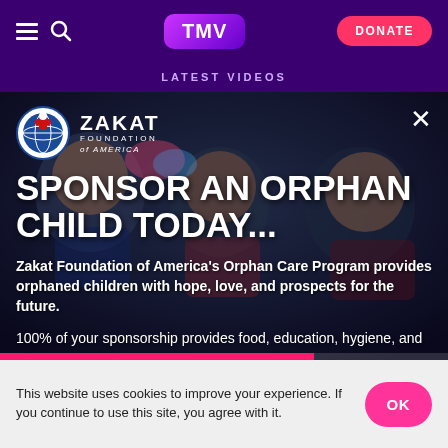TMV | DONATE
LATEST VIDEOS
[Figure (screenshot): Zakat Foundation of America promotional video thumbnail showing smiling children with overlay text about sponsoring orphans]
SPONSOR AN ORPHAN CHILD TODAY...
Zakat Foundation of America's Orphan Care Program provides orphaned children with hope, love, and prospects for the future.
100% of your sponsorship provides food, education, hygiene, and other urgent aid to the child.
This website uses cookies to improve your experience. If you continue to use this site, you agree with it.